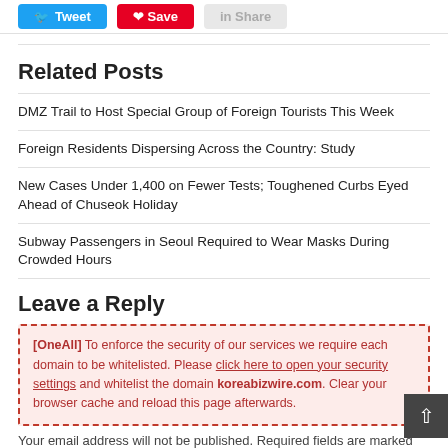[Figure (screenshot): Social share buttons: Tweet (Twitter, blue), Save (Pinterest, red), Share (LinkedIn, grey)]
Related Posts
DMZ Trail to Host Special Group of Foreign Tourists This Week
Foreign Residents Dispersing Across the Country: Study
New Cases Under 1,400 on Fewer Tests; Toughened Curbs Eyed Ahead of Chuseok Holiday
Subway Passengers in Seoul Required to Wear Masks During Crowded Hours
Leave a Reply
[OneAll] To enforce the security of our services we require each domain to be whitelisted. Please click here to open your security settings and whitelist the domain koreabizwire.com. Clear your browser cache and reload this page afterwards.
Your email address will not be published. Required fields are marked